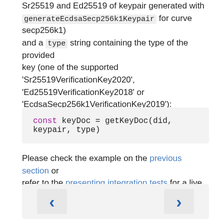Sr25519 and Ed25519 of keypair generated with generateEcdsaSecp256k1Keypair for curve secp256k1) and a type string containing the type of the provided key (one of the supported 'Sr25519VerificationKey2020', 'Ed25519VerificationKey2018' or 'EcdsaSecp256k1VerificationKey2019'):
Please check the example on the previous section or refer to the presenting integration tests for a live example.